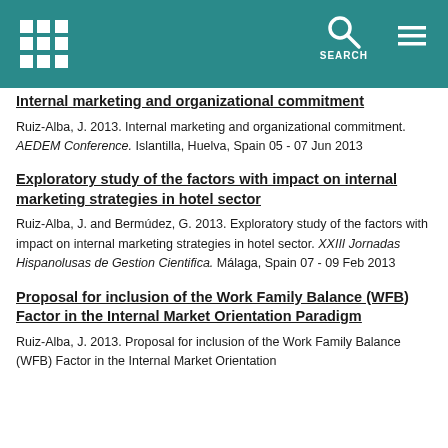SEARCH
Internal marketing and organizational commitment
Ruiz-Alba, J. 2013. Internal marketing and organizational commitment. AEDEM Conference. Islantilla, Huelva, Spain 05 - 07 Jun 2013
Exploratory study of the factors with impact on internal marketing strategies in hotel sector
Ruiz-Alba, J. and Bermúdez, G. 2013. Exploratory study of the factors with impact on internal marketing strategies in hotel sector. XXIII Jornadas Hispanolusas de Gestion Cientifica. Málaga, Spain 07 - 09 Feb 2013
Proposal for inclusion of the Work Family Balance (WFB) Factor in the Internal Market Orientation Paradigm
Ruiz-Alba, J. 2013. Proposal for inclusion of the Work Family Balance (WFB) Factor in the Internal Market Orientation